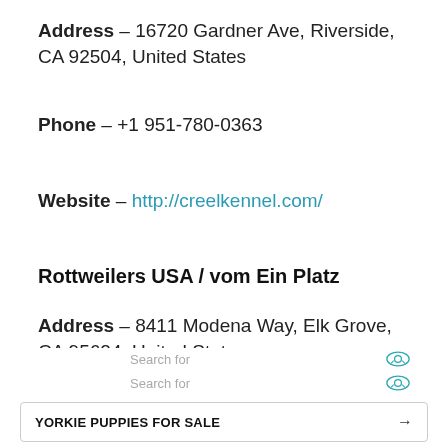Address – 16720 Gardner Ave, Riverside, CA 92504, United States
Phone – +1 951-780-0363
Website – http://creelkennel.com/
Rottweilers USA / vom Ein Platz
Address – 8411 Modena Way, Elk Grove, CA 95624, United States
Search for
Search for
YORKIE PUPPIES FOR SALE →
ROTTWEILER PUPPY PRICE →